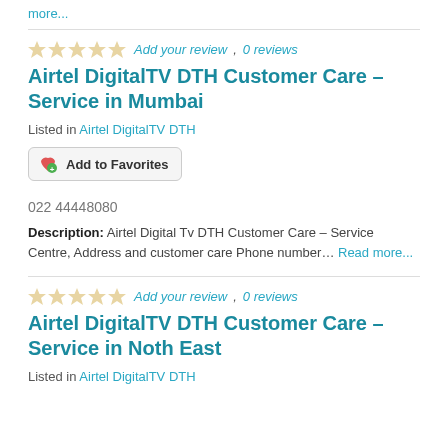more...
Add your review, 0 reviews
Airtel DigitalTV DTH Customer Care – Service in Mumbai
Listed in Airtel DigitalTV DTH
Add to Favorites
022 44448080
Description: Airtel Digital Tv DTH Customer Care – Service Centre, Address and customer care Phone number… Read more...
Add your review, 0 reviews
Airtel DigitalTV DTH Customer Care – Service in Noth East
Listed in Airtel DigitalTV DTH